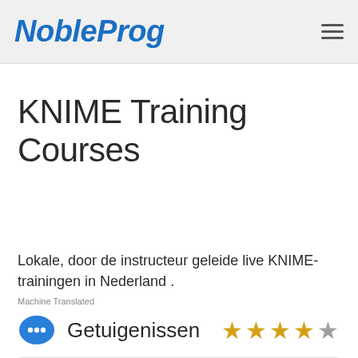NobleProg
KNIME Training Courses
Lokale, door de instructeur geleide live KNIME-trainingen in Nederland .
Machine Translated
Getuigenissen
De capaciteit van de tool